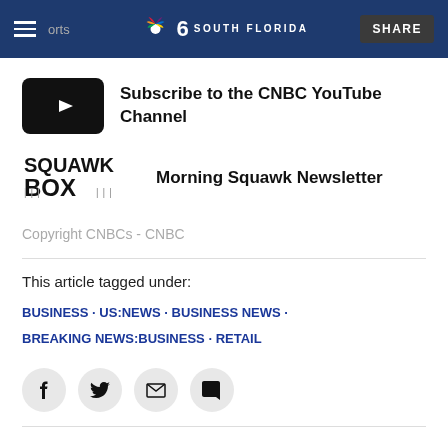NBC 6 South Florida
[Figure (logo): YouTube play button thumbnail icon]
Subscribe to the CNBC YouTube Channel
[Figure (logo): Squawk Box logo]
Morning Squawk Newsletter
Copyright CNBCs - CNBC
This article tagged under:
BUSINESS · US:NEWS · BUSINESS NEWS · BREAKING NEWS:BUSINESS · RETAIL
[Figure (other): Social share icons: Facebook, Twitter, Email, Comment]